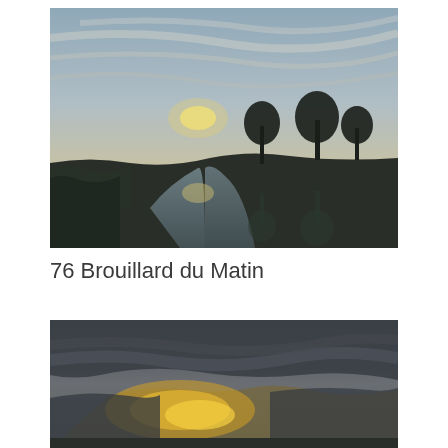[Figure (photo): Landscape photo of a misty morning scene with a canal or river reflecting bare trees silhouetted against a dramatic sky with wispy clouds and a glowing sun near the horizon.]
76 Brouillard du Matin
[Figure (photo): Landscape photo showing a dramatic sky with dark storm clouds and golden light breaking through, with a flat horizon below.]